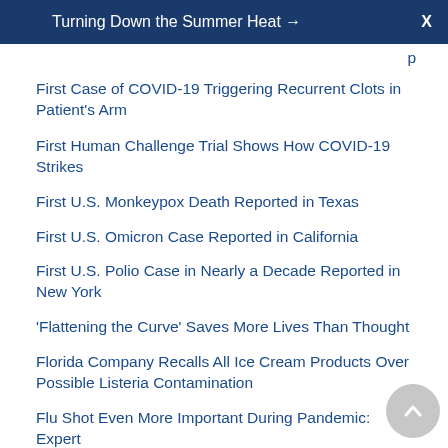Turning Down the Summer Heat →  X
First Case of COVID-19 Triggering Recurrent Clots in Patient's Arm
First Human Challenge Trial Shows How COVID-19 Strikes
First U.S. Monkeypox Death Reported in Texas
First U.S. Omicron Case Reported in California
First U.S. Polio Case in Nearly a Decade Reported in New York
'Flattening the Curve' Saves More Lives Than Thought
Florida Company Recalls All Ice Cream Products Over Possible Listeria Contamination
Flu Shot Even More Important During Pandemic: Expert